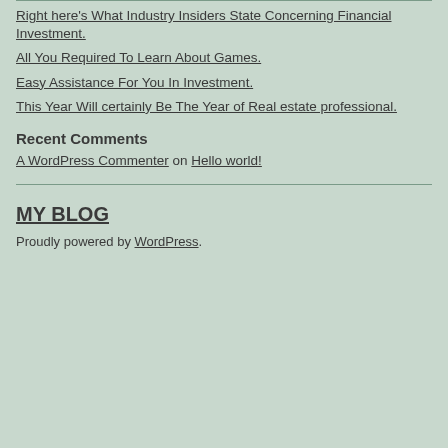Right here's What Industry Insiders State Concerning Financial Investment.
All You Required To Learn About Games.
Easy Assistance For You In Investment.
This Year Will certainly Be The Year of Real estate professional.
Recent Comments
A WordPress Commenter on Hello world!
MY BLOG
Proudly powered by WordPress.